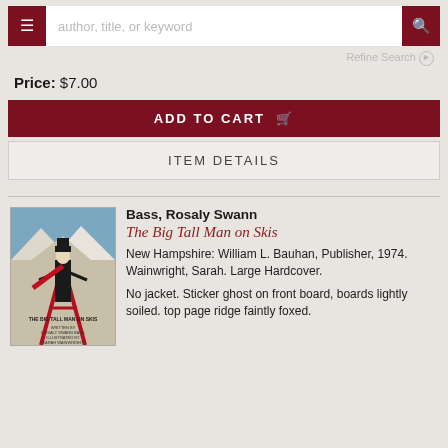[Figure (screenshot): Search bar with hamburger menu button on left, text input in center with placeholder 'author, title, or keyword', and search icon button on right. All styled in dark red and white.]
Refine Search
Price: $7.00
ADD TO CART
ITEM DETAILS
Bass, Rosaly Swann
The Big Tall Man on Skis
New Hampshire: William L. Bauhan, Publisher, 1974. Wainwright, Sarah. Large Hardcover.
No jacket. Sticker ghost on front board, boards lightly soiled. top page ridge faintly foxed.
[Figure (illustration): Book cover of 'The Big Tall Man on Skis' showing a tall figure in black coat with red skis on a snowy mountain background, with text 'Written by Rosaly Swann Bass, Illustrated by Sarah Wainwright']